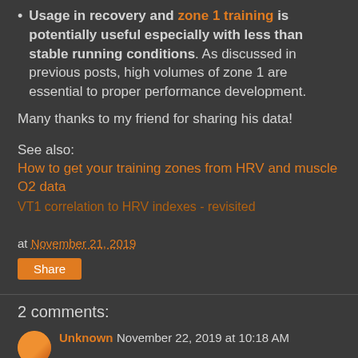Usage in recovery and zone 1 training is potentially useful especially with less than stable running conditions. As discussed in previous posts, high volumes of zone 1 are essential to proper performance development.
Many thanks to my friend for sharing his data!
See also:
How to get your training zones from HRV and muscle O2 data
VT1 correlation to HRV indexes - revisited
at November 21, 2019
Share
2 comments:
Unknown  November 22, 2019 at 10:18 AM